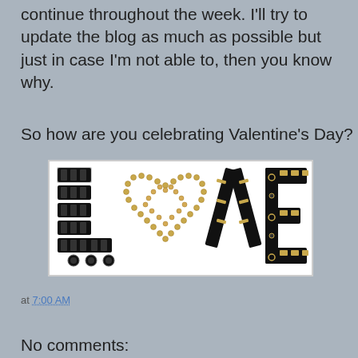continue throughout the week. I'll try to update the blog as much as possible but just in case I'm not able to, then you know why.
So how are you celebrating Valentine's Day?
[Figure (illustration): Decorative LOVE image with stylized letters made of black and gold jewels/studs. The letter L is made of black rectangular blocks, the O is a heart shape outlined in gold/crystal beads, the V is formed by two diagonal black strips with gold accents, and the E is made of black blocks with gold studs.]
at 7:00 AM
Share
No comments:
Post a Comment